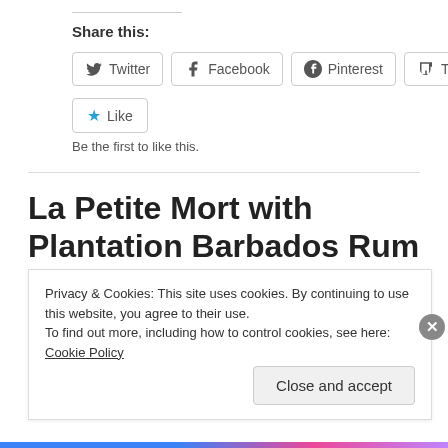Share this:
[Figure (other): Social share buttons: Twitter, Facebook, Pinterest, Tumblr]
[Figure (other): Like button with star icon]
Be the first to like this.
La Petite Mort with Plantation Barbados Rum
Privacy & Cookies: This site uses cookies. By continuing to use this website, you agree to their use.
To find out more, including how to control cookies, see here: Cookie Policy